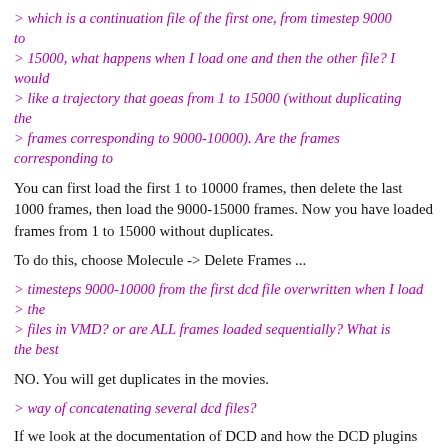> which is a continuation file of the first one, from timestep 9000 to
> 15000, what happens when I load one and then the other file? I would
> like a trajectory that goeas from 1 to 15000 (without duplicating the
> frames corresponding to 9000-10000). Are the frames corresponding to
You can first load the first 1 to 10000 frames, then delete the last 1000 frames, then load the 9000-15000 frames. Now you have loaded frames from 1 to 15000 without duplicates.
To do this, choose Molecule -> Delete Frames ...
> timesteps 9000-10000 from the first dcd file overwritten when I load
> the
> files in VMD? or are ALL frames loaded sequentially? What is the best
NO. You will get duplicates in the movies.
> way of concatenating several dcd files?
If we look at the documentation of DCD and how the DCD plugins